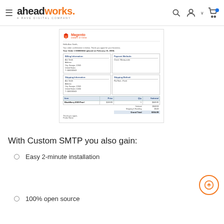aheadworks. A RAVE DIGITAL COMPANY
[Figure (screenshot): Screenshot of a Magento Demo Store order confirmation email showing billing information, shipping information, payment method (Check/Money order), shipping method (Flat Rate - Fixed), item (BlackBerry 8100 Pearl $349.99, qty 1, subtotal $349.99), subtotal $349.99, Shipping & Handling $0.00, Grand Total $356.99. Signed 'Thank you again, Pedro Nieve'.]
With Custom SMTP you also gain:
Easy 2-minute installation
100% open source